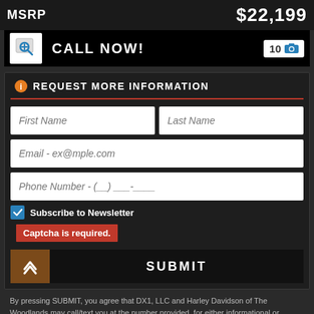MSRP   $22,199
CALL NOW!   10
REQUEST MORE INFORMATION
First Name
Last Name
Email - ex@mple.com
Phone Number - (__) ___-____
Subscribe to Newsletter
Captcha is required.
SUBMIT
By pressing SUBMIT, you agree that DX1, LLC and Harley Davidson of The Woodlands may call/text you at the number provided, for either informational or marketing purposes, using an automatic telephone